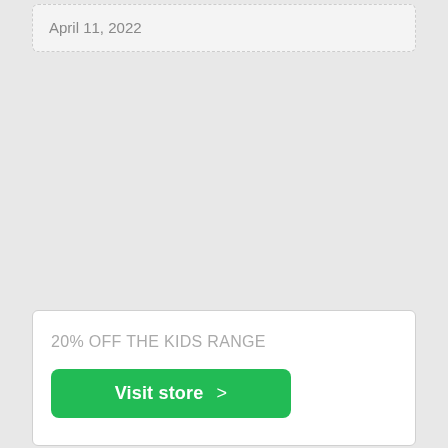April 11, 2022
20% OFF THE KIDS RANGE
Visit store >